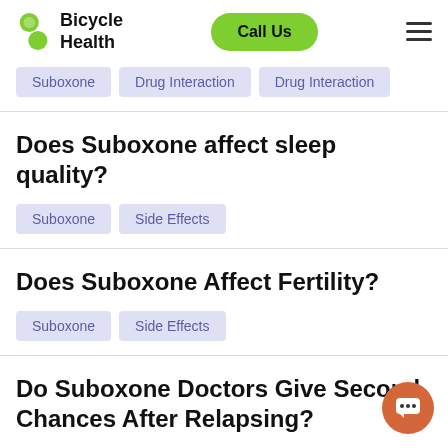Bicycle Health | Call Us | Menu
Suboxone  Drug Interaction  Drug Interaction
Does Suboxone affect sleep quality?
Suboxone  Side Effects
Does Suboxone Affect Fertility?
Suboxone  Side Effects
Do Suboxone Doctors Give Second Chances After Relapsing?